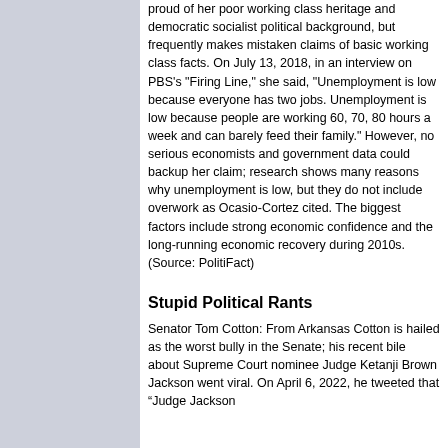proud of her poor working class heritage and democratic socialist political background, but frequently makes mistaken claims of basic working class facts. On July 13, 2018, in an interview on PBS's "Firing Line," she said, "Unemployment is low because everyone has two jobs. Unemployment is low because people are working 60, 70, 80 hours a week and can barely feed their family." However, no serious economists and government data could backup her claim; research shows many reasons why unemployment is low, but they do not include overwork as Ocasio-Cortez cited. The biggest factors include strong economic confidence and the long-running economic recovery during 2010s. (Source: PolitiFact)
Stupid Political Rants
Senator Tom Cotton: From Arkansas Cotton is hailed as the worst bully in the Senate; his recent bile about Supreme Court nominee Judge Ketanji Brown Jackson went viral. On April 6, 2022, he tweeted that “Judge Jackson